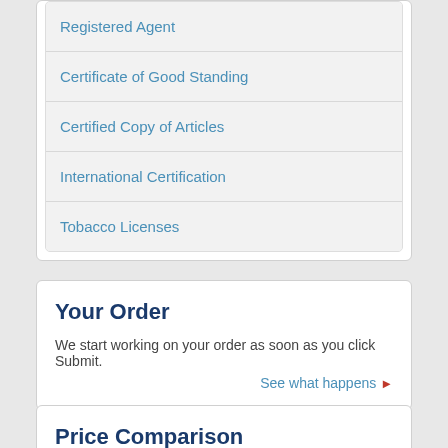Registered Agent
Certificate of Good Standing
Certified Copy of Articles
International Certification
Tobacco Licenses
Your Order
We start working on your order as soon as you click Submit.
See what happens ▶
Price Comparison